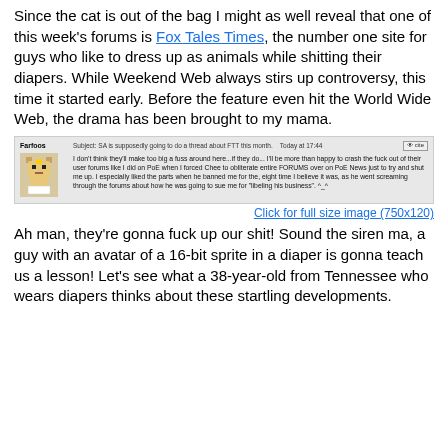Since the cat is out of the bag I might as well reveal that one of this week's forums is Fox Tales Times, the number one site for guys who like to dress up as animals while shitting their diapers. While Weekend Web always stirs up controversy, this time it started early. Before the feature even hit the World Wide Web, the drama has been brought to my mama.
[Figure (screenshot): Forum post screenshot from user 'Farfoos' with a pixel-art avatar, subject line about SA doing a thread about FTT this month, timestamped Today at 17:44, with body text about crashing forums.]
Click for full size image (750x120)
Ah man, they're gonna fuck up our shit! Sound the siren ma, a guy with an avatar of a 16-bit sprite in a diaper is gonna teach us a lesson! Let's see what a 38-year-old from Tennessee who wears diapers thinks about these startling developments.